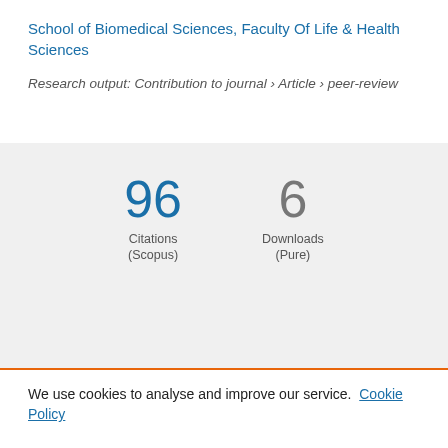School of Biomedical Sciences, Faculty Of Life & Health Sciences
Research output: Contribution to journal › Article › peer-review
96 Citations (Scopus)
6 Downloads (Pure)
We use cookies to analyse and improve our service. Cookie Policy